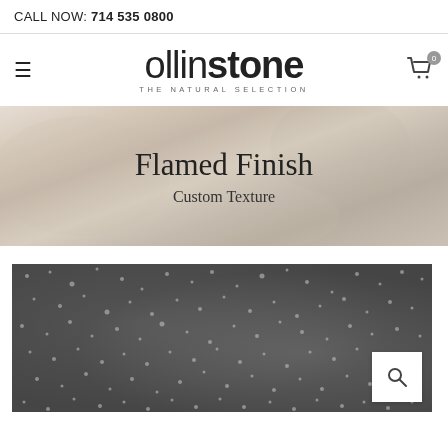CALL NOW: 714 535 0800
ollinstone — THE NATURAL SELECTION
[Figure (photo): Hero banner with stone quarry background image showing 'Flamed Finish' title and 'Custom Texture' subtitle]
Flamed Finish
Custom Texture
[Figure (photo): Close-up photo of dark grey flamed finish stone texture with rough speckled surface, with a magnifying glass zoom icon in the bottom right corner]